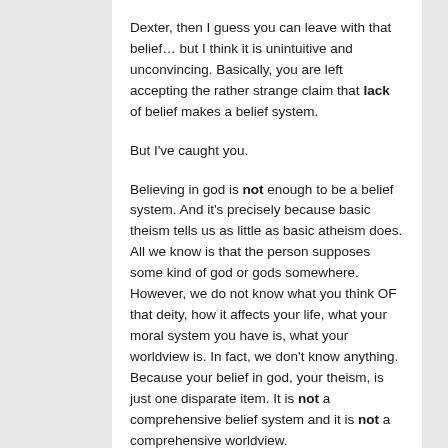Dexter, then I guess you can leave with that belief... but I think it is unintuitive and unconvincing. Basically, you are left accepting the rather strange claim that lack of belief makes a belief system.
But I've caught you.
Believing in god is not enough to be a belief system. And it's precisely because basic theism tells us as little as basic atheism does. All we know is that the person supposes some kind of god or gods somewhere. However, we do not know what you think OF that deity, how it affects your life, what your moral system you have is, what your worldview is. In fact, we don't know anything. Because your belief in god, your theism, is just one disparate item. It is not a comprehensive belief system and it is not a comprehensive worldview.
So, what is your belief system? What is your worldview? Your worldview comes into play when...